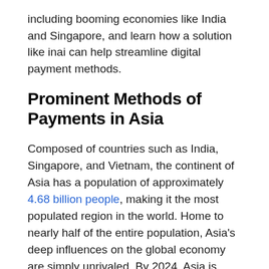including booming economies like India and Singapore, and learn how a solution like inai can help streamline digital payment methods.
Prominent Methods of Payments in Asia
Composed of countries such as India, Singapore, and Vietnam, the continent of Asia has a population of approximately 4.68 billion people, making it the most populated region in the world. Home to nearly half of the entire population, Asia's deep influences on the global economy are simply unrivaled. By 2024, Asia is expected to account for 61.4% of the global eCommerce market and is projected to produce $1.92 trillion USD in revenue across the continent.
With a close look at the local eCommerce, we see the